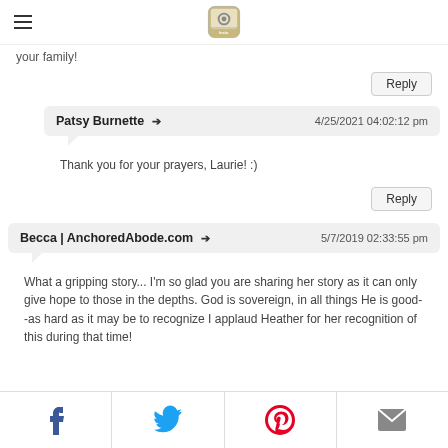Insta logo / hamburger menu
your family!
Reply
Patsy Burnette → 4/25/2021 04:02:12 pm
Thank you for your prayers, Laurie! :)
Reply
Becca | AnchoredAbode.com → 5/7/2019 02:33:55 pm
What a gripping story... I'm so glad you are sharing her story as it can only give hope to those in the depths. God is sovereign, in all things He is good--as hard as it may be to recognize I applaud Heather for her recognition of this during that time!
Share bar: Facebook, Twitter, Pinterest, Email